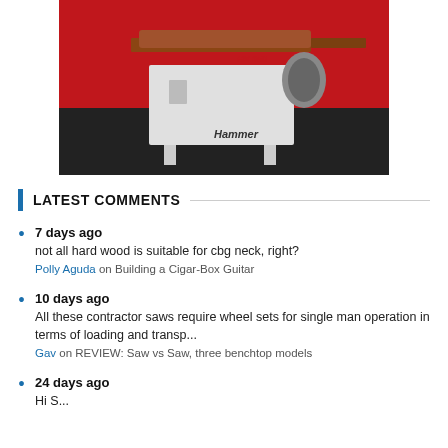[Figure (photo): Product photo of a Hammer HS 950 belt sander/drum sander machine on a red and black background]
LATEST COMMENTS
7 days ago
not all hard wood is suitable for cbg neck, right?
Polly Aguda on Building a Cigar-Box Guitar
10 days ago
All these contractor saws require wheel sets for single man operation in terms of loading and transp...
Gav on REVIEW: Saw vs Saw, three benchtop models
24 days ago
Hi S...